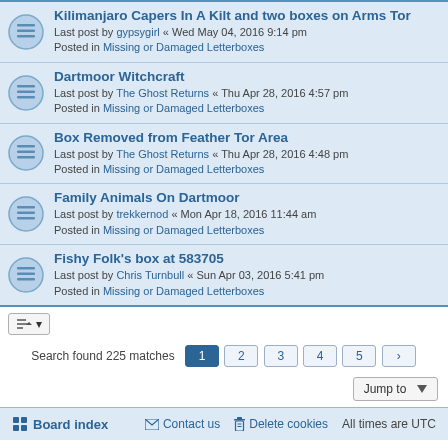Kilimanjaro Capers In A Kilt and two boxes on Arms Tor — Last post by gypsygirl « Wed May 04, 2016 9:14 pm — Posted in Missing or Damaged Letterboxes
Dartmoor Witchcraft — Last post by The Ghost Returns « Thu Apr 28, 2016 4:57 pm — Posted in Missing or Damaged Letterboxes
Box Removed from Feather Tor Area — Last post by The Ghost Returns « Thu Apr 28, 2016 4:48 pm — Posted in Missing or Damaged Letterboxes
Family Animals On Dartmoor — Last post by trekkernod « Mon Apr 18, 2016 11:44 am — Posted in Missing or Damaged Letterboxes
Fishy Folk's box at 583705 — Last post by Chris Turnbull « Sun Apr 03, 2016 5:41 pm — Posted in Missing or Damaged Letterboxes
Search found 225 matches — pages: 1 2 3 4 5 >
Jump to
Board index | Contact us | Delete cookies | All times are UTC
Powered by phpBB® Forum Software © phpBB Limited
Privacy | Terms